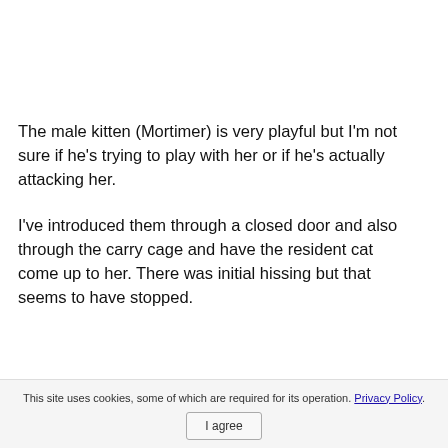The male kitten (Mortimer) is very playful but I'm not sure if he's trying to play with her or if he's actually attacking her.
I've introduced them through a closed door and also through the carry cage and have the resident cat come up to her. There was initial hissing but that seems to have stopped.
This site uses cookies, some of which are required for its operation. Privacy Policy. I agree